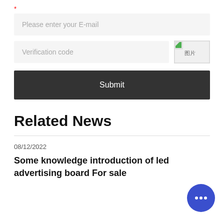* Please enter your E-mail
Verification code
Submit
Related News
08/12/2022
Some knowledge introduction of led advertising board For sale